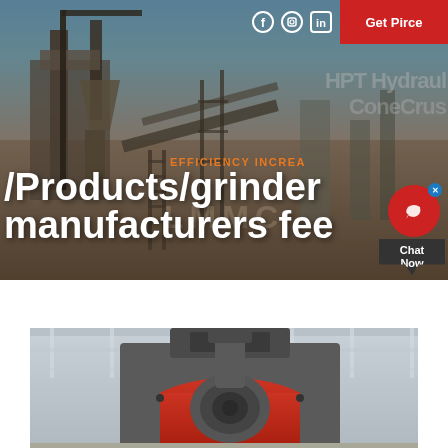[Figure (photo): Industrial mining/crushing machinery site with large equipment, conveyors, and scaffolding in outdoor setting. Hero background image.]
Get Pirce
/Products/grinder manufacturers fee
EFFICIENCY INCREA
[Figure (photo): Close-up of industrial grinder/crusher machinery in a warehouse/factory setting, showing red and grey mechanical components.]